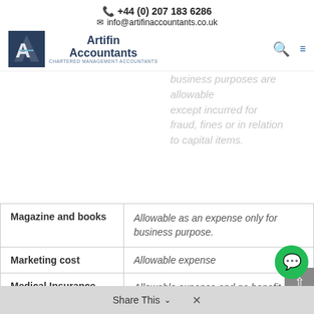+44 (0) 207 183 6286
info@artifinaccountants.co.uk
[Figure (logo): Artifin Accountants - Chartered Management Accountants logo]
business purposes are allowable except incurred for fraud, fines or in relation to capital items.
| Expense | Tax Treatment |
| --- | --- |
| Magazine and books | Allowable as an expense only for business purpose. |
| Marketing cost | Allowable expense |
| Medical Insurance | Allowable expense and no benefit in kind charge applies to the employee's annual medical check-ups and to the cost of insurance if working abroad. |
| Medical | Employee getting |
Share This